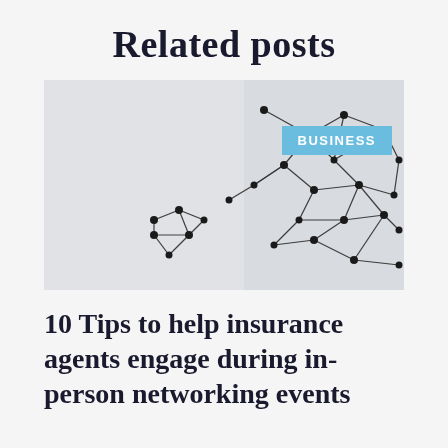Related posts
[Figure (photo): Network diagram showing nodes connected by dark threads/strings against a light gray background, representing networking or connections concept. A light blue 'BUSINESS' label badge is overlaid in the upper right area of the image.]
10 Tips to help insurance agents engage during in-person networking events